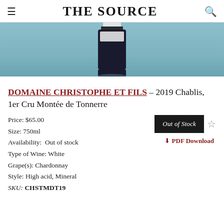THE SOURCE
[Figure (photo): Wine bottle photograph on a blue-teal background, showing the bottom portion of a dark wine bottle with a white label.]
DOMAINE CHRISTOPHE ET FILS – 2019 Chablis, 1er Cru Montée de Tonnerre
Price: $65.00
Size: 750ml
Availability: Out of stock
Type of Wine: White
Grape(s): Chardonnay
Style: High acid, Mineral
SKU: CHSTMDT19